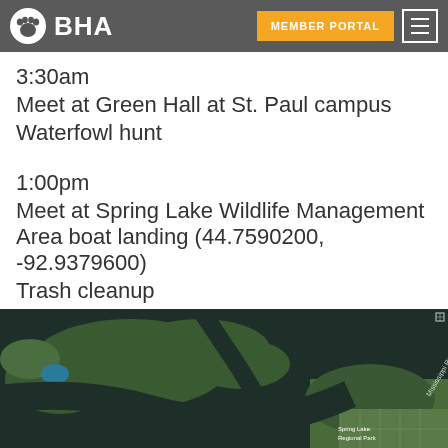BHA | MEMBER PORTAL
3:30am
Meet at Green Hall at St. Paul campus
Waterfowl hunt
1:00pm
Meet at Spring Lake Wildlife Management Area boat landing (44.7590200, -92.9379600)
Trash cleanup
[Figure (map): Satellite map showing Spring Lake Regional Park and Mississippi River area near coordinates 44.7590200, -92.9379600. Labels visible: Mississippi River, Spring Lake Regional Park, Spring Lake WMA boat landing area.]